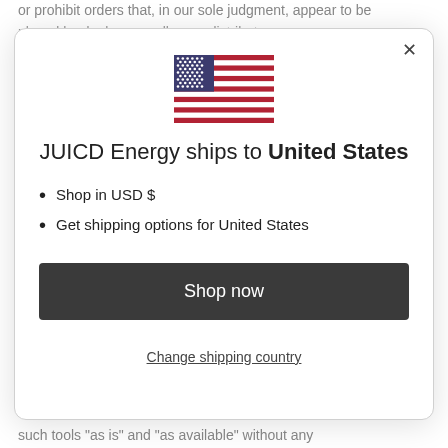or prohibit orders that, in our sole judgment, appear to be placed by dealers, resellers or distributors.
[Figure (illustration): US flag icon shown inside a modal dialog]
JUICD Energy ships to United States
Shop in USD $
Get shipping options for United States
Shop now
Change shipping country
such tools "as is" and "as available" without any